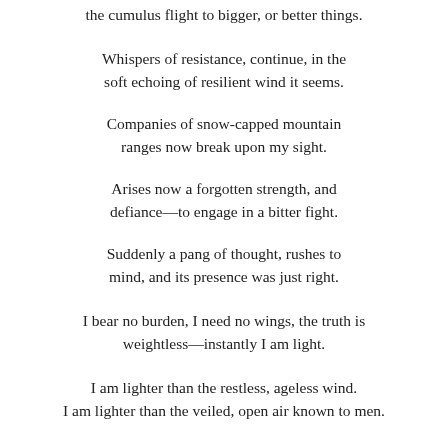the cumulus flight to bigger, or better things.
Whispers of resistance, continue, in the soft echoing of resilient wind it seems.
Companies of snow-capped mountain ranges now break upon my sight.
Arises now a forgotten strength, and defiance—to engage in a bitter fight.
Suddenly a pang of thought, rushes to mind, and its presence was just right.
I bear no burden, I need no wings, the truth is weightless—instantly I am light.
I am lighter than the restless, ageless wind. I am lighter than the veiled, open air known to men.